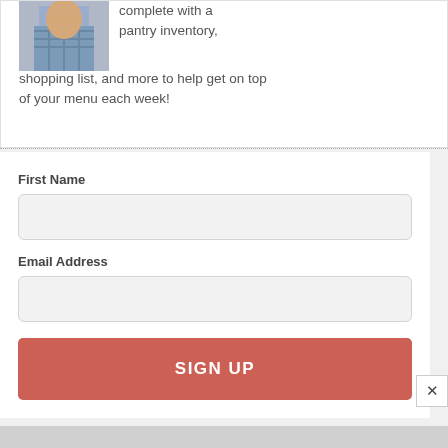[Figure (photo): Partial photo of a person visible in top-left corner of the dialog]
complete with a pantry inventory, shopping list, and more to help get on top of your menu each week!
First Name
Email Address
SIGN UP